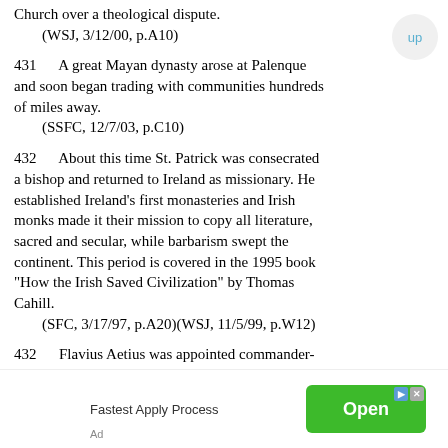Church over a theological dispute.
    (WSJ, 3/12/00, p.A10)
431    A great Mayan dynasty arose at Palenque and soon began trading with communities hundreds of miles away.
    (SSFC, 12/7/03, p.C10)
432    About this time St. Patrick was consecrated a bishop and returned to Ireland as missionary. He established Ireland’s first monasteries and Irish monks made it their mission to copy all literature, sacred and secular, while barbarism swept the continent. This period is covered in the 1995 book "How the Irish Saved Civilization" by Thomas Cahill.
    (SFC, 3/17/97, p.A20)(WSJ, 11/5/99, p.W12)
432    Flavius Aetius was appointed commander-in-chief of all the armies of the Western Roman Empire.
    (ON, 4/12, p.1)
[Figure (other): Advertisement banner: 'Fastest Apply Process' with green Open button and ad icons]